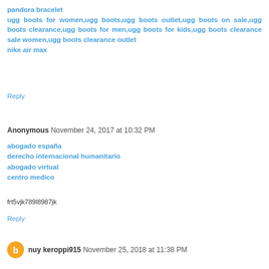pandora bracelet
ugg boots for women,ugg boots,ugg boots outlet,ugg boots on sale,ugg boots clearance,ugg boots for men,ugg boots for kids,ugg boots clearance sale women,ugg boots clearance outlet
nike air max
Reply
Anonymous  November 24, 2017 at 10:32 PM
abogado españa
derecho internacional humanitario
abogado virtual
centro medico
frt5vjk789l8987jk
Reply
nuy keroppi915  November 25, 2018 at 11:38 PM